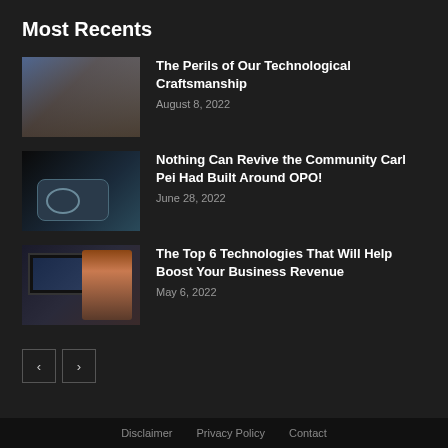Most Recents
[Figure (photo): Industrial cityscape with smokestacks and heavy fog or smoke]
The Perils of Our Technological Craftsmanship
August 8, 2022
[Figure (photo): Nothing Phone device with transparent back showing wireless charging ring]
Nothing Can Revive the Community Carl Pei Had Built Around OPO!
June 28, 2022
[Figure (photo): Woman with red hair working at computer monitors]
The Top 6 Technologies That Will Help Boost Your Business Revenue
May 6, 2022
Disclaimer   Privacy Policy   Contact